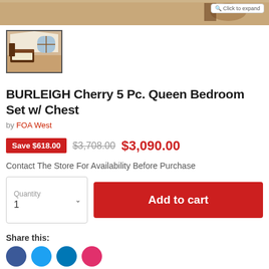[Figure (photo): Top strip showing bedroom set photo with 'Click to expand' button]
[Figure (photo): Thumbnail image of BURLEIGH Cherry bedroom set in a room with arched windows]
BURLEIGH Cherry 5 Pc. Queen Bedroom Set w/ Chest
by FOA West
Save $618.00  $3,708.00  $3,090.00
Contact The Store For Availability Before Purchase
Quantity 1  Add to cart
Share this: